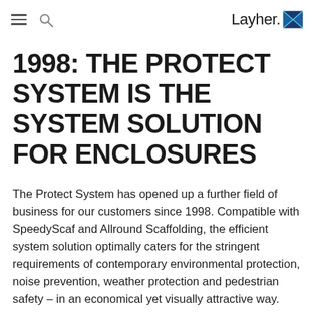Layher.
1998: THE PROTECT SYSTEM IS THE SYSTEM SOLUTION FOR ENCLOSURES
The Protect System has opened up a further field of business for our customers since 1998. Compatible with SpeedyScaf and Allround Scaffolding, the efficient system solution optimally caters for the stringent requirements of contemporary environmental protection, noise prevention, weather protection and pedestrian safety – in an economical yet visually attractive way.
Protective Systems